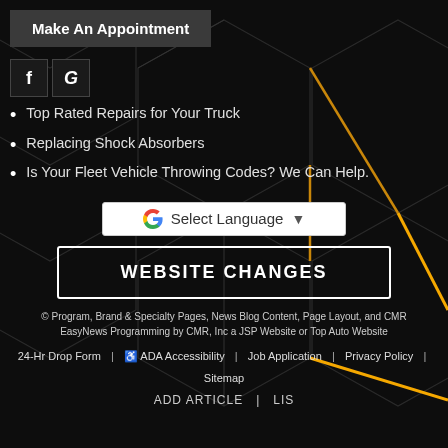Make An Appointment
[Figure (logo): Facebook and Google social media icons]
Top Rated Repairs for Your Truck
Replacing Shock Absorbers
Is Your Fleet Vehicle Throwing Codes? We Can Help.
[Figure (other): Google Translate Select Language dropdown widget]
WEBSITE CHANGES
© Program, Brand & Specialty Pages, News Blog Content, Page Layout, and CMR EasyNews Programming by CMR, Inc a JSP Website or Top Auto Website
24-Hr Drop Form | ♿ ADA Accessibility | Job Application | Privacy Policy | Sitemap
ADD ARTICLE | LIS